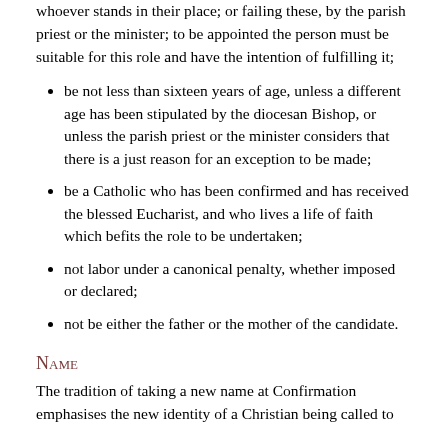whoever stands in their place; or failing these, by the parish priest or the minister; to be appointed the person must be suitable for this role and have the intention of fulfilling it;
be not less than sixteen years of age, unless a different age has been stipulated by the diocesan Bishop, or unless the parish priest or the minister considers that there is a just reason for an exception to be made;
be a Catholic who has been confirmed and has received the blessed Eucharist, and who lives a life of faith which befits the role to be undertaken;
not labor under a canonical penalty, whether imposed or declared;
not be either the father or the mother of the candidate.
Name
The tradition of taking a new name at Confirmation emphasises the new identity of a Christian being called to